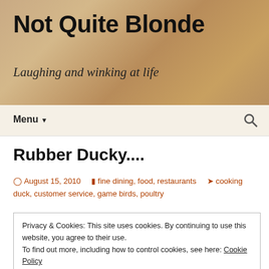Not Quite Blonde — Laughing and winking at life
Rubber Ducky....
August 15, 2010   fine dining, food, restaurants   cooking duck, customer service, game birds, poultry
Last winter, four of us went out for dinner at a local restaurant known for all of the things restaurants want to
Privacy & Cookies: This site uses cookies. By continuing to use this website, you agree to their use. To find out more, including how to control cookies, see here: Cookie Policy
Close and accept